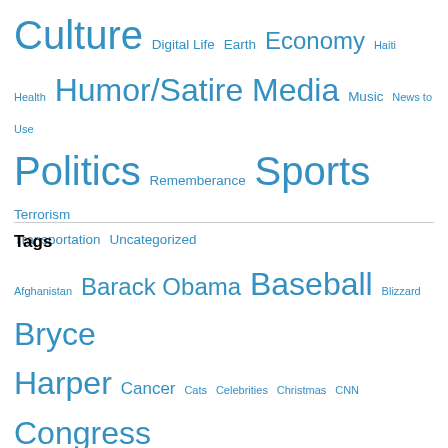Culture Digital Life Earth Economy Haiti Health Humor/Satire Media Music News to Use Politics Rememberance Sports Terrorism Transportation Uncategorized
Tags
Afghanistan Barack Obama Baseball Blizzard Bryce Harper Cancer Cats Celebrities Christmas CNN Congress Daniel Snyder Dan Snyder Digital Donald Trump Donovan McNabb Dylan's Ghost-Songs of a Lifetime Economy Elections Fear Football Fox News Friggin' Dog Haiti Health Care